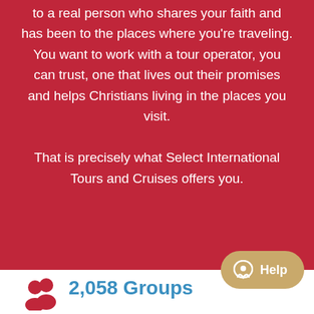to a real person who shares your faith and has been to the places where you're traveling. You want to work with a tour operator, you can trust, one that lives out their promises and helps Christians living in the places you visit. That is precisely what Select International Tours and Cruises offers you.
[Figure (infographic): Two red person/group icons representing groups count]
2,058 Groups
[Figure (other): Gold/tan rounded pill-shaped Help button with chat bubble icon and text 'Help']